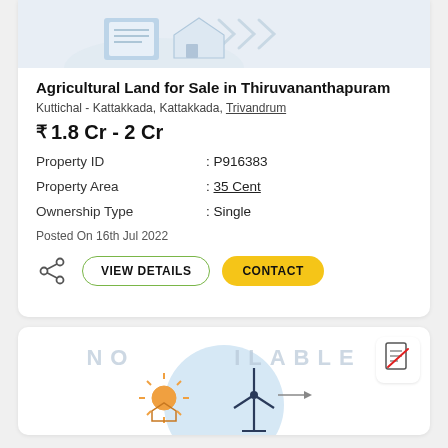[Figure (illustration): Partial illustration of a house/property at the top of the card]
Agricultural Land for Sale in Thiruvananthapuram
Kuttichal - Kattakkada, Kattakkada, Trivandrum
₹ 1.8 Cr - 2 Cr
| Property ID | : P916383 |
| Property Area | : 35 Cent |
| Ownership Type | : Single |
Posted On 16th Jul 2022
[Figure (illustration): No image available placeholder with sun and wind turbine icons on light blue circle background, document icon with red cross in top right corner. Text 'NO IMAGE AVAILABLE' partially visible.]